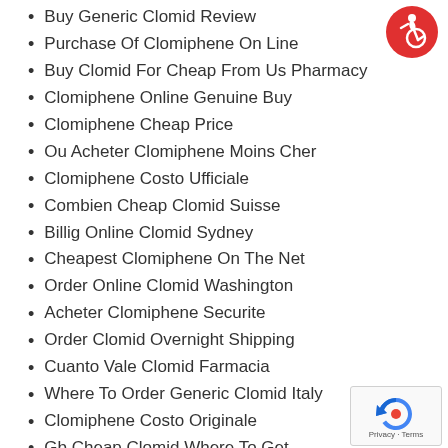Buy Generic Clomid Review
Purchase Of Clomiphene On Line
Buy Clomid For Cheap From Us Pharmacy
Clomiphene Online Genuine Buy
Clomiphene Cheap Price
Ou Acheter Clomiphene Moins Cher
Clomiphene Costo Ufficiale
Combien Cheap Clomid Suisse
Billig Online Clomid Sydney
Cheapest Clomiphene On The Net
Order Online Clomid Washington
Acheter Clomiphene Securite
Order Clomid Overnight Shipping
Cuanto Vale Clomid Farmacia
Where To Order Generic Clomid Italy
Clomiphene Costo Originale
Gb Cheap Clomid Where To Get
[Figure (logo): Red circular accessibility icon with white wheelchair user symbol]
[Figure (logo): Google reCAPTCHA badge with Privacy and Terms text]